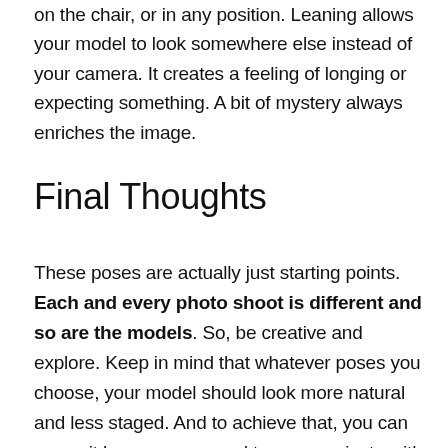on the chair, or in any position. Leaning allows your model to look somewhere else instead of your camera. It creates a feeling of longing or expecting something. A bit of mystery always enriches the image.
Final Thoughts
These poses are actually just starting points. Each and every photo shoot is different and so are the models. So, be creative and explore. Keep in mind that whatever poses you choose, your model should look more natural and less staged. And to achieve that, you can guess it by now, you need to communicate with your model.